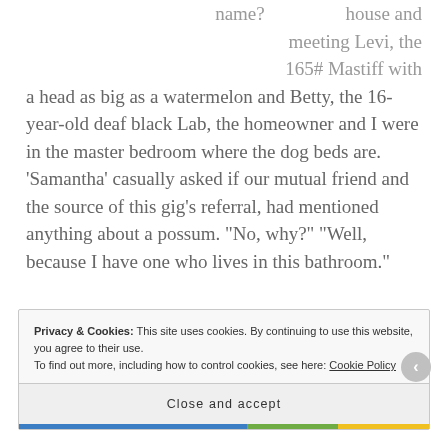name? house and meeting Levi, the 165# Mastiff with a head as big as a watermelon and Betty, the 16-year-old deaf black Lab, the homeowner and I were in the master bedroom where the dog beds are. ‘Samantha’ casually asked if our mutual friend and the source of this gig’s referral, had mentioned anything about a possum. “No, why?” “Well, because I have one who lives in this bathroom.”
Privacy & Cookies: This site uses cookies. By continuing to use this website, you agree to their use. To find out more, including how to control cookies, see here: Cookie Policy
Close and accept